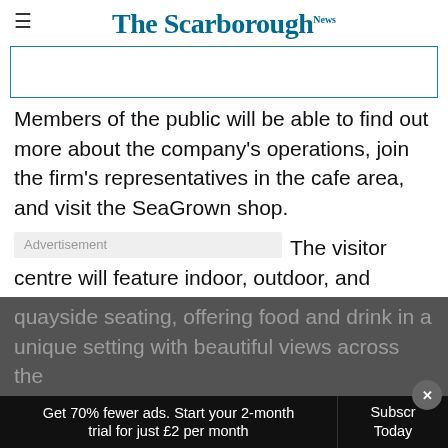The Scarborough News
[Figure (other): Advertisement banner box partially visible at top]
Members of the public will be able to find out more about the company's operations, join the firm's representatives in the cafe area, and visit the SeaGrown shop.
The visitor centre will feature indoor, outdoor, and quayside seating, offering food and drink in a unique setting with beautiful views across the
Get 70% fewer ads. Start your 2-month trial for just £2 per month
Subscribe Today